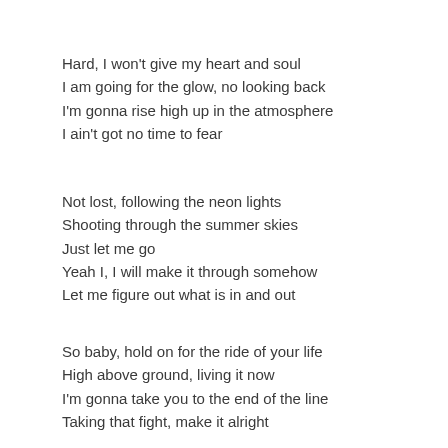Hard, I won't give my heart and soul
I am going for the glow, no looking back
I'm gonna rise high up in the atmosphere
I ain't got no time to fear
Not lost, following the neon lights
Shooting through the summer skies
Just let me go
Yeah I, I will make it through somehow
Let me figure out what is in and out
So baby, hold on for the ride of your life
High above ground, living it now
I'm gonna take you to the end of the line
Taking that fight, make it alright